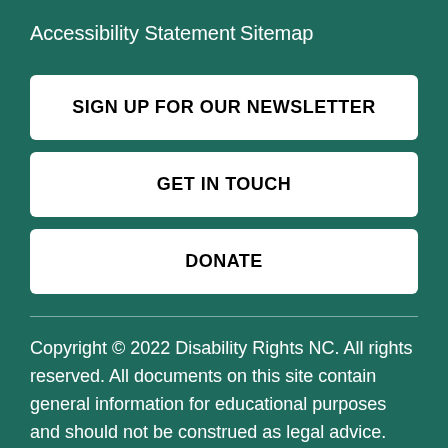Accessibility Statement
Sitemap
SIGN UP FOR OUR NEWSLETTER
GET IN TOUCH
DONATE
Copyright © 2022 Disability Rights NC. All rights reserved. All documents on this site contain general information for educational purposes and should not be construed as legal advice. They are not intended to be a comprehensive statement of the law and may